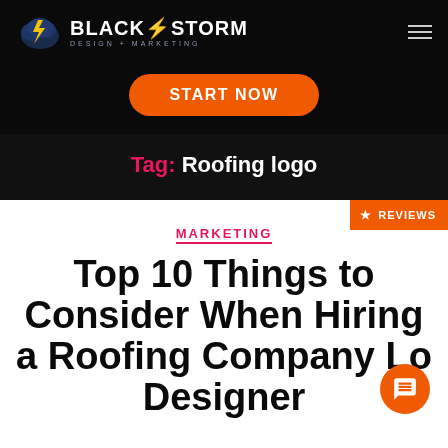BlackStorm Design + Marketing
[Figure (logo): BlackStorm Design + Marketing logo with lightning bolt cloud icon]
START NOW
Tag: Roofing logo
REVIEWS
MARKETING
Top 10 Things to Consider When Hiring a Roofing Company Logo Designer